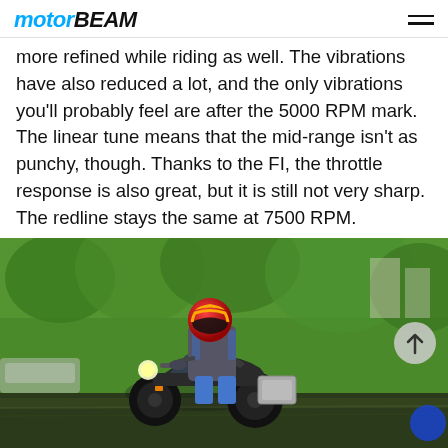MOTORBEAM
more refined while riding as well. The vibrations have also reduced a lot, and the only vibrations you'll probably feel are after the 5000 RPM mark. The linear tune means that the mid-range isn't as punchy, though. Thanks to the FI, the throttle response is also great, but it is still not very sharp. The redline stays the same at 7500 RPM.
[Figure (photo): Rider on a motorcycle (adventure tourer) wearing a colorful helmet, riding on a road with green trees in background, motion blur effect suggesting speed.]